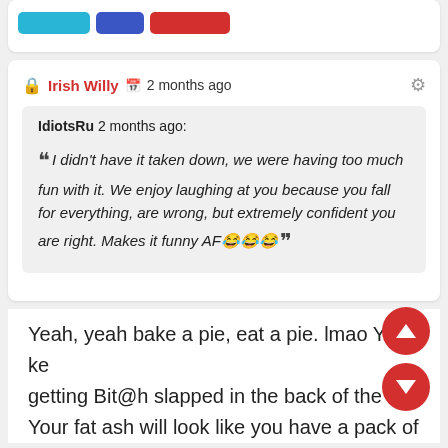[Figure (screenshot): Top portion of a social media comment card with cyan, blue, and red buttons visible at top]
Irish Willy  2 months ago
IdiotsRu 2 months ago: “I didn’t have it taken down, we were having too much fun with it. We enjoy laughing at you because you fall for everything, are wrong, but extremely confident you are right. Makes it funny AF😂😂😂”
Yeah, yeah bake a pie, eat a pie. lmao You ke getting Bit@h slapped in the back of the he Your fat ash will look like you have a pack of